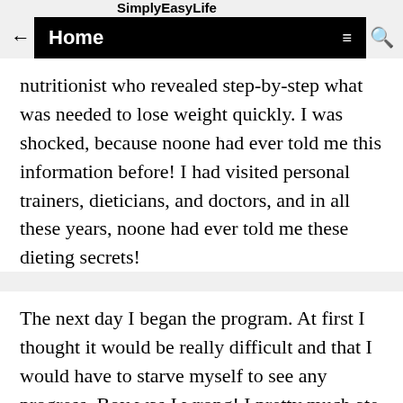SimplyEasyLife
Home
nutritionist who revealed step-by-step what was needed to lose weight quickly. I was shocked, because noone had ever told me this information before! I had visited personal trainers, dieticians, and doctors, and in all these years, noone had ever told me these dieting secrets!
The next day I began the program. At first I thought it would be really difficult and that I would have to starve myself to see any progress. Boy was I wrong! I pretty much ate whatever I was eating before, but I made sure to eat it at the